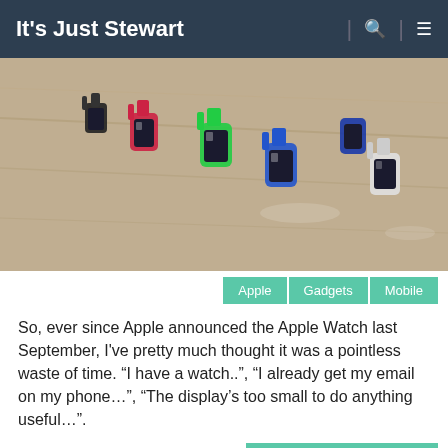It's Just Stewart
[Figure (photo): Apple Watch models on display on a wooden table, multiple colorful sport band watches lined up]
Apple   Gadgets   Mobile
So, ever since Apple announced the Apple Watch last September, I've pretty much thought it was a pointless waste of time. “I have a watch..”, “I already get my email on my phone…”, “The display’s too small to do anything useful…”.
Published by: Stewart